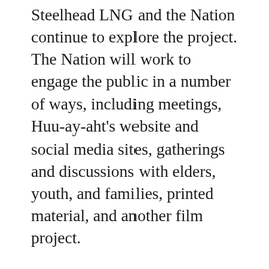Steelhead LNG and the Nation continue to explore the project. The Nation will work to engage the public in a number of ways, including meetings, Huu-ay-aht's website and social media sites, gatherings and discussions with elders, youth, and families, printed material, and another film project.
The upcoming Community Engagement Sessions will take citizens back to basics on the project, and then it will move into more technical and up-to-date information on the project.
The Council of Ḥawiiḥ and Executive Council members want to know your feelings, thoughts, concerns, hopes, and ideas and top priorities. This project will not move forward without input from citizens.
The Community Engagement Session will be at the